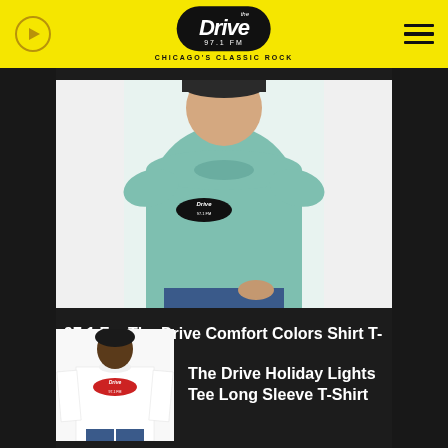[Figure (logo): The Drive 97.1 FM Chicago's Classic Rock radio station logo on yellow header bar]
[Figure (photo): Man wearing a teal/green Comfort Colors T-shirt with The Drive 97.1 FM logo on the chest]
97.1 Fm The Drive Comfort Colors Shirt T-Shirt
[Figure (photo): Man wearing a white long sleeve T-shirt with The Drive 97.1 FM logo on the chest]
The Drive Holiday Lights Tee Long Sleeve T-Shirt